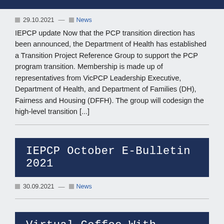29.10.2021 — News
IEPCP update Now that the PCP transition direction has been announced, the Department of Health has established a Transition Project Reference Group to support the PCP program transition. Membership is made up of representatives from VicPCP Leadership Executive, Department of Health, and Department of Families (DH), Fairness and Housing (DFFH). The group will codesign the high-level transition [...]
IEPCP October E-Bulletin 2021
30.09.2021 — News
Virtual Coffee With... Sarah Lancaster,